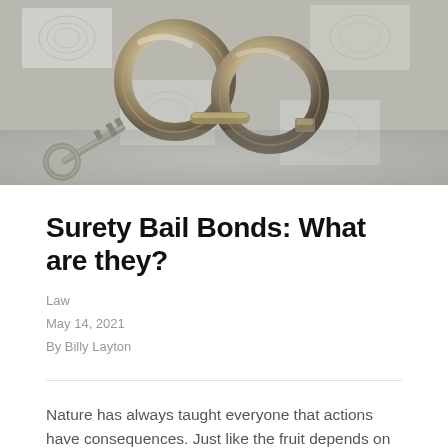[Figure (photo): Photograph of handcuffs and a key resting on fingerprint cards/paper, viewed from above. The handcuffs are silver/metallic and the background shows grey fingerprint impressions on paper.]
Surety Bail Bonds: What are they?
Law
May 14, 2021
By Billy Layton
Nature has always taught everyone that actions have consequences. Just like the fruit depends on the tree, results